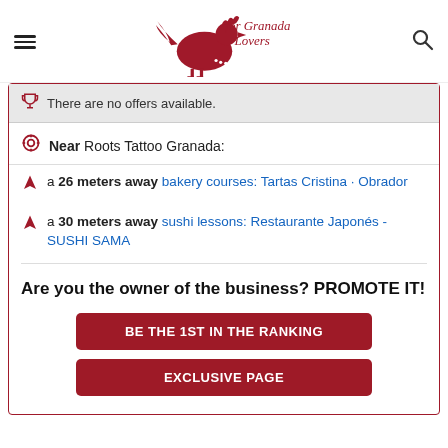for Granada Lovers
There are no offers available.
Near Roots Tattoo Granada:
a 26 meters away bakery courses: Tartas Cristina · Obrador
a 30 meters away sushi lessons: Restaurante Japonés - SUSHI SAMA
Are you the owner of the business? PROMOTE IT!
BE THE 1ST IN THE RANKING
EXCLUSIVE PAGE